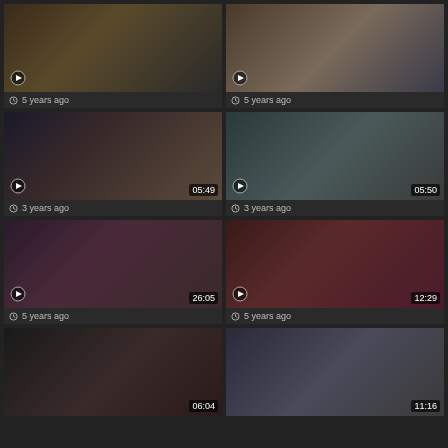[Figure (screenshot): Video thumbnail grid showing 8 video cards in 2 columns, each with a thumbnail image, duration badge, and time-ago metadata]
5 years ago
5 years ago
3 years ago
3 years ago
5 years ago
5 years ago
06:04
11:16